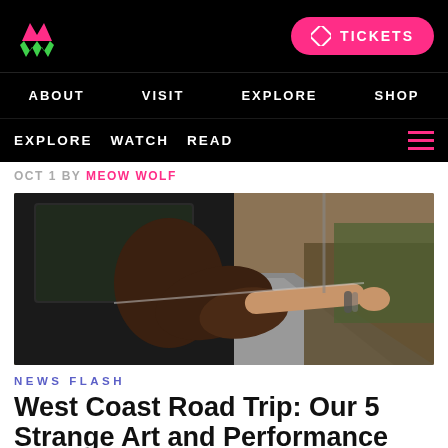Meow Wolf — TICKETS | ABOUT | VISIT | EXPLORE | SHOP
EXPLORE  WATCH  READ
OCT 1 BY MEOW WOLF
[Figure (photo): Woman leaning out of a car window on a mountain road, hair blowing, bracelets on wrist, forested highway scenery]
NEWS FLASH
West Coast Road Trip: Our 5 Strange Art and Performance Vacations